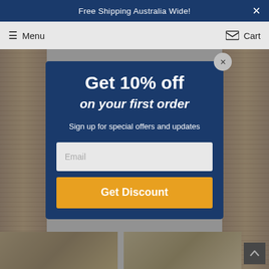Free Shipping Australia Wide!
Menu   Cart
Get 10% off
on your first order
Sign up for special offers and updates
Email
Get Discount
Ham Afgha x 19
Silk | 285 6'4"